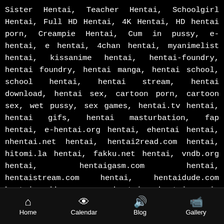Sister Hentai, Teacher Hentai, Schoolgirl Hentai, Full HD Hentai, 4K Hentai, HD hentai porn, Creampie Hentai, Cum in pussy, e-hentai, e hentai, 4chan hentai, myanimelist hentai, kissanime hentai, hentai-foundry, hentai foundry, hentai manga, hentai school, school hentai, hentai stream, hentai download, hentai sex, cartoon porn, cartoon sex, wet pussy, sex games, hentai.tv hentai, hentai gifs, hentai masturbation, fap hentai, e-hentai.org hentai, ehentai hentai, nhentai.net hentai, hentai2read.com hentai, hitomi.la hentai, fakku.net hentai, vndb.org hentai, hentaigasm.com hentai, hentaistream.com hentai, hentaidude.com hentai, hbrowse.com hentai, hentaimama.io hentai, hentaihaven.org hentai, hentaiplay.net hentai, miohentai.com hentai, naughtyhentai.com hentai,
Home  Calendar  Blog  Gallery